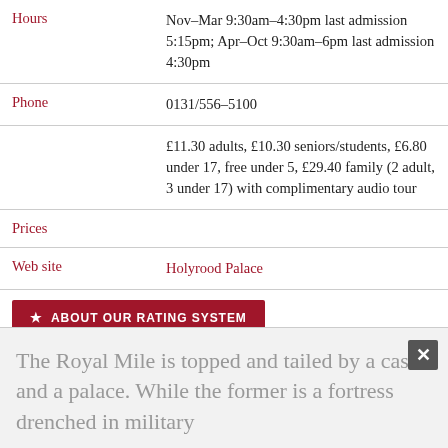| Label | Value |
| --- | --- |
| Hours | Nov–Mar 9:30am–4:30pm last admission 5:15pm; Apr–Oct 9:30am–6pm last admission 4:30pm |
| Phone | 0131/556–5100 |
|  | £11.30 adults, £10.30 seniors/students, £6.80 under 17, free under 5, £29.40 family (2 adult, 3 under 17) with complimentary audio tour |
| Prices |  |
| Web site | Holyrood Palace |
ABOUT OUR RATING SYSTEM
The Royal Mile is topped and tailed by a castle and a palace. While the former is a fortress drenched in military